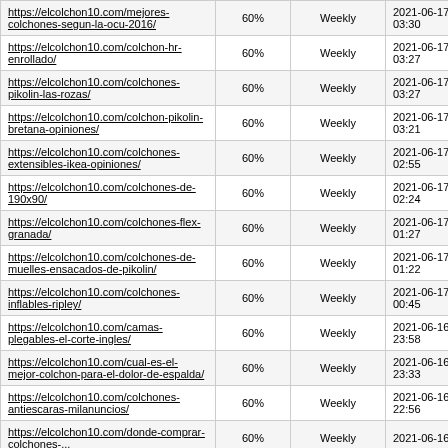| https://elcolchon10.com/mejores-colchones-segun-la-ocu-2016/ | 60% | Weekly | 2021-06-17 03:30 |
| https://elcolchon10.com/colchon-hr-enrollado/ | 60% | Weekly | 2021-06-17 03:27 |
| https://elcolchon10.com/colchones-pikolin-las-rozas/ | 60% | Weekly | 2021-06-17 03:27 |
| https://elcolchon10.com/colchon-pikolin-bretana-opiniones/ | 60% | Weekly | 2021-06-17 03:21 |
| https://elcolchon10.com/colchones-extensibles-ikea-opiniones/ | 60% | Weekly | 2021-06-17 02:55 |
| https://elcolchon10.com/colchones-de-190x90/ | 60% | Weekly | 2021-06-17 02:24 |
| https://elcolchon10.com/colchones-flex-granada/ | 60% | Weekly | 2021-06-17 01:27 |
| https://elcolchon10.com/colchones-de-muelles-ensacados-de-pikolin/ | 60% | Weekly | 2021-06-17 01:22 |
| https://elcolchon10.com/colchones-inflables-ripley/ | 60% | Weekly | 2021-06-17 00:45 |
| https://elcolchon10.com/camas-plegables-el-corte-ingles/ | 60% | Weekly | 2021-06-16 23:58 |
| https://elcolchon10.com/cual-es-el-mejor-colchon-para-el-dolor-de-espalda/ | 60% | Weekly | 2021-06-16 23:33 |
| https://elcolchon10.com/colchones-antiescaras-milanuncios/ | 60% | Weekly | 2021-06-16 22:56 |
| https://elcolchon10.com/donde-comprar-... | 60% | Weekly | 2021-06-16 ... |